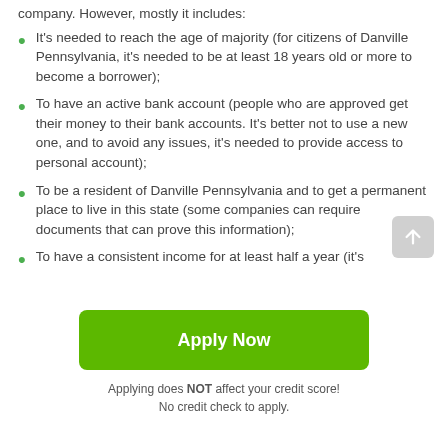company. However, mostly it includes:
It's needed to reach the age of majority (for citizens of Danville Pennsylvania, it's needed to be at least 18 years old or more to become a borrower);
To have an active bank account (people who are approved get their money to their bank accounts. It's better not to use a new one, and to avoid any issues, it's needed to provide access to personal account);
To be a resident of Danville Pennsylvania and to get a permanent place to live in this state (some companies can require documents that can prove this information);
To have a consistent income for at least half a year (it's
[Figure (other): Green 'Apply Now' button]
Applying does NOT affect your credit score!
No credit check to apply.